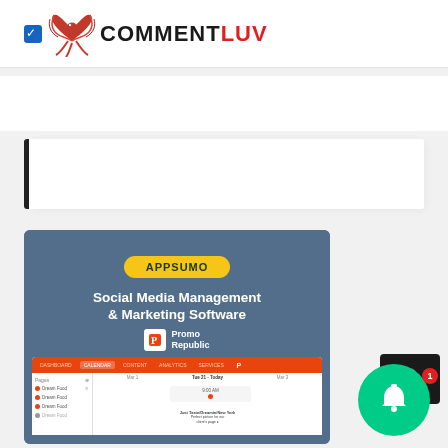[Figure (logo): CommentLuv logo with phoenix bird and checkbox icon, text COMMENT in black and LUV in red]
[Figure (illustration): AppSumo promotional banner for PromoRepublic Social Media Management & Marketing Software, showing calendar UI mockup]
[Figure (other): Green notification bell circle with black box above showing upload icon and red badge with number 1]